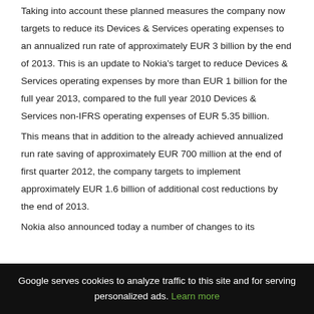Taking into account these planned measures the company now targets to reduce its Devices & Services operating expenses to an annualized run rate of approximately EUR 3 billion by the end of 2013. This is an update to Nokia's target to reduce Devices & Services operating expenses by more than EUR 1 billion for the full year 2013, compared to the full year 2010 Devices & Services non-IFRS operating expenses of EUR 5.35 billion.
This means that in addition to the already achieved annualized run rate saving of approximately EUR 700 million at the end of first quarter 2012, the company targets to implement approximately EUR 1.6 billion of additional cost reductions by the end of 2013.
Nokia also announced today a number of changes to its
Google serves cookies to analyze traffic to this site and for serving personalized ads. Learn more